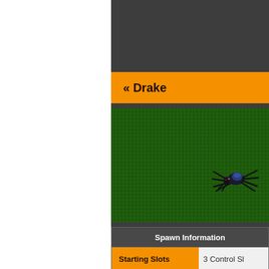« Drake
[Figure (screenshot): A dark spider-like creature on a green grass textured background]
| Spawn Information |  |
| --- | --- |
| Starting Slots | 3 Control Sl |